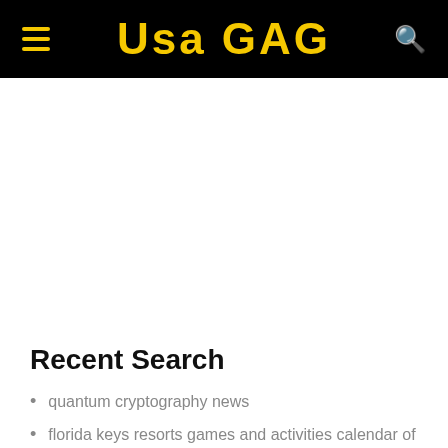USA GAG
Recent Search
quantum cryptography news
florida keys resorts games and activities calendar of events today